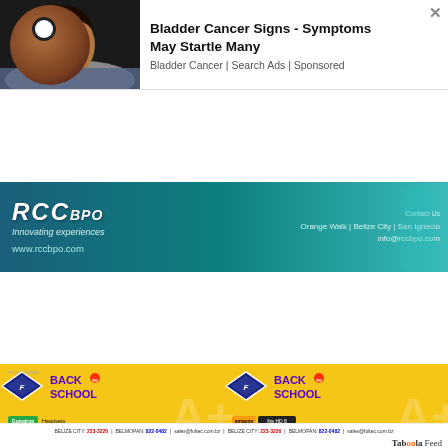[Figure (photo): Bladder Cancer ad banner with worried man lying in bed and ad text]
Bladder Cancer Signs - Symptoms May Startle Many
Bladder Cancer | Search Ads | Sponsored
[Figure (photo): RCC BPO banner ad: dark teal background with logo, tagline 'Innovating experiences', website www.rccbpo.com, locations Orange Walk | Belize City | San Ignacio, Contact Us info@rccbpo.com]
[Figure (photo): Fultec Systems Back to School banner ad showing Gumdrop headsets ($42 or $63, 1 Year Warranty) and Amazon Fire HD 8 tablet (SALE $199, 1 Year Warranty), phone 610-1260, Belize City 223-3226, Belmopan 822-0482, sales@fultec.com.bz]
BELIZE CITY: 223-3226 | BELMOPAN: 822-0482 | sales@fultec.com.bz | BELIZE CITY: 223-3226 | BELMOPAN: 822-0482 | sales@fultec.com.bz
Taboola Feed